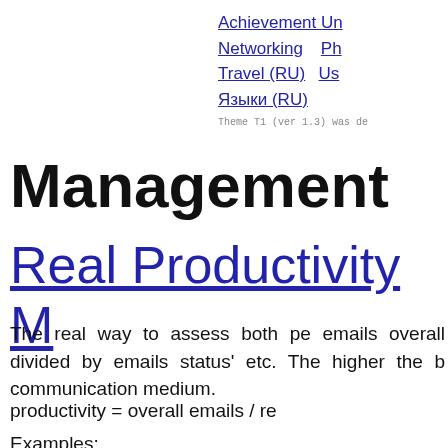Achievement Un... Networking Ph... Travel (RU) Us... Языки (RU) Theme T1 (ver 1.3) was de...
Management
Real Productivity M...
The real way to assess both per... emails overall divided by emails ... status' etc. The higher the b... communication medium.
Examples: